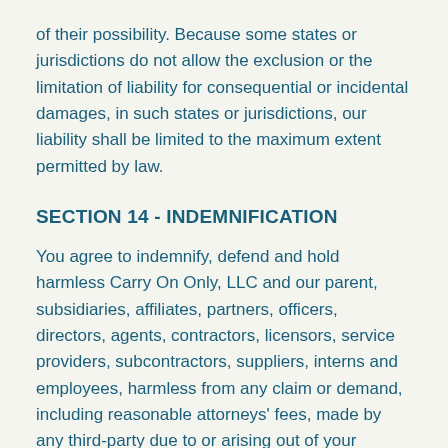of their possibility. Because some states or jurisdictions do not allow the exclusion or the limitation of liability for consequential or incidental damages, in such states or jurisdictions, our liability shall be limited to the maximum extent permitted by law.
SECTION 14 - INDEMNIFICATION
You agree to indemnify, defend and hold harmless Carry On Only, LLC and our parent, subsidiaries, affiliates, partners, officers, directors, agents, contractors, licensors, service providers, subcontractors, suppliers, interns and employees, harmless from any claim or demand, including reasonable attorneys' fees, made by any third-party due to or arising out of your breach of these Terms of Service or the documents they incorporate by reference, or your violation of any law or the rights of a third-party.